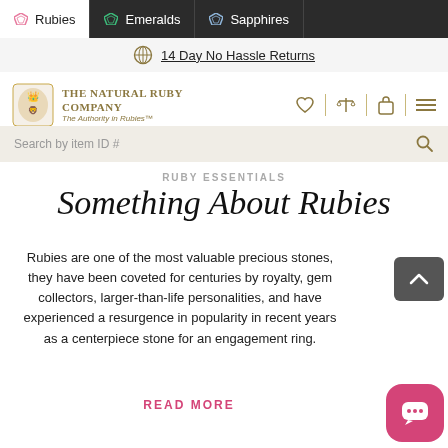Rubies | Emeralds | Sapphires
14 Day No Hassle Returns
[Figure (logo): The Natural Ruby Company crest logo with tagline 'The Authority in Rubies™']
Search by item ID #
RUBY ESSENTIALS
Something About Rubies
Rubies are one of the most valuable precious stones, they have been coveted for centuries by royalty, gem collectors, larger-than-life personalities, and have experienced a resurgence in popularity in recent years as a centerpiece stone for an engagement ring.
READ MORE